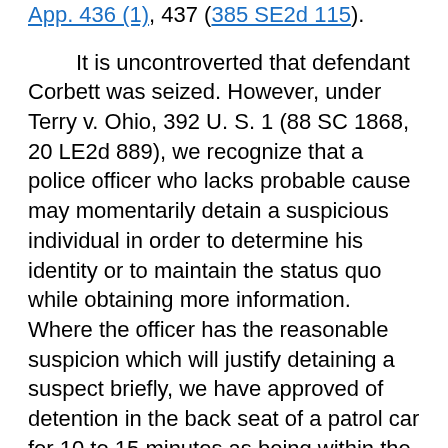App. 436 (1), 437 (385 SE2d 115).
It is uncontroverted that defendant Corbett was seized. However, under Terry v. Ohio, 392 U. S. 1 (88 SC 1868, 20 LE2d 889), we recognize that a police officer who lacks probable cause may momentarily detain a suspicious individual in order to determine his identity or to maintain the status quo while obtaining more information. Where the officer has the reasonable suspicion which will justify detaining a suspect briefly, we have approved of detention in the back seat of a patrol car for 10 to 15 minutes as being within the duration of the seizure contemplated under Terry v.